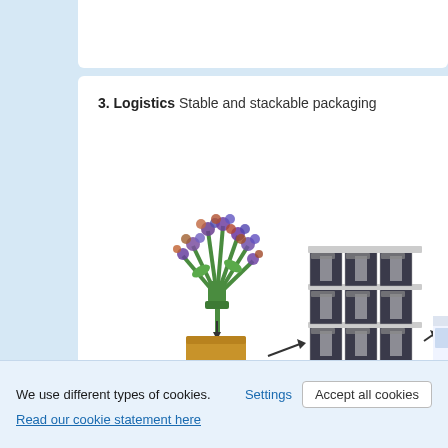3. Logistics Stable and stackable packaging
[Figure (infographic): Logistics diagram showing flowers being packed into a box, then stacked boxes on a pallet, then loaded onto a delivery truck. Arrows indicate the process flow from left to right.]
We use different types of cookies.
Read our cookie statement here
Settings
Accept all cookies